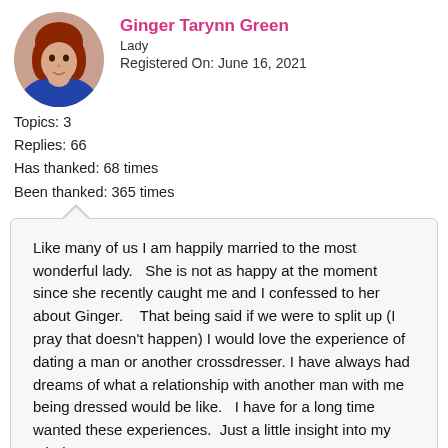[Figure (photo): Circular profile photo of a woman with red hair wearing a blue outfit]
Ginger Tarynn Green
Lady
Registered On: June 16, 2021
Topics: 3
Replies: 66
Has thanked: 68 times
Been thanked: 365 times
Like many of us I am happily married to the most wonderful lady.   She is not as happy at the moment since she recently caught me and I confessed to her about Ginger.    That being said if we were to split up (I pray that doesn't happen) I would love the experience of dating a man or another crossdresser. I have always had dreams of what a relationship with another man with me being dressed would be like.   I have for a long time wanted these experiences.  Just a little insight into my mind.
 Hehe.  Love and hugzz Ginny
6 users thanked author for this post.
[Figure (photo): Small circular avatar thumbnails of users who thanked the post]